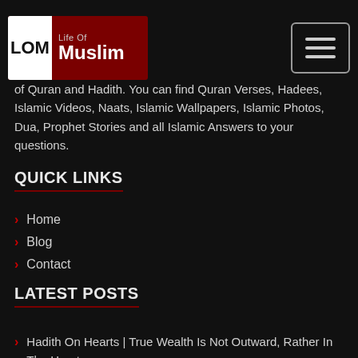LOM Life Of Muslim [logo] [hamburger menu button]
of Quran and Hadith. You can find Quran Verses, Hadees, Islamic Videos, Naats, Islamic Wallpapers, Islamic Photos, Dua, Prophet Stories and all Islamic Answers to your questions.
QUICK LINKS
Home
Blog
Contact
LATEST POSTS
Hadith On Hearts | True Wealth Is Not Outward, Rather In The Heart